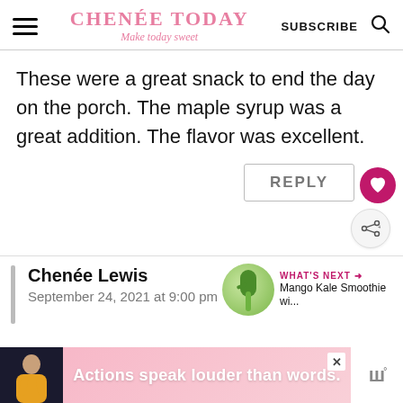CHENÉE TODAY Make today sweet | SUBSCRIBE
These were a great snack to end the day on the porch. The maple syrup was a great addition. The flavor was excellent.
REPLY
Chenée Lewis
September 24, 2021 at 9:00 pm
[Figure (other): What's Next thumbnail: Mango Kale Smoothie wi...]
[Figure (other): Advertisement bar: person figure with yellow top, pink background, text 'Actions speak louder than words.']